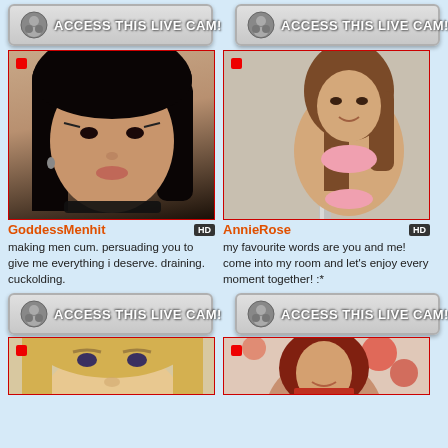[Figure (other): ACCESS THIS LIVE CAM button (left, top)]
[Figure (other): ACCESS THIS LIVE CAM button (right, top)]
[Figure (photo): Photo of GoddessMenhit - Asian woman with dark hair and choker]
GoddessMenhit HD
making men cum. persuading you to give me everything i deserve. draining. cuckolding.
[Figure (photo): Photo of AnnieRose - woman in pink bikini near pole]
AnnieRose HD
my favourite words are you and me! come into my room and let's enjoy every moment together! :*
[Figure (other): ACCESS THIS LIVE CAM button (left, bottom)]
[Figure (other): ACCESS THIS LIVE CAM button (right, bottom)]
[Figure (photo): Partial photo of blonde woman (bottom left)]
[Figure (photo): Partial photo of redhead woman (bottom right)]